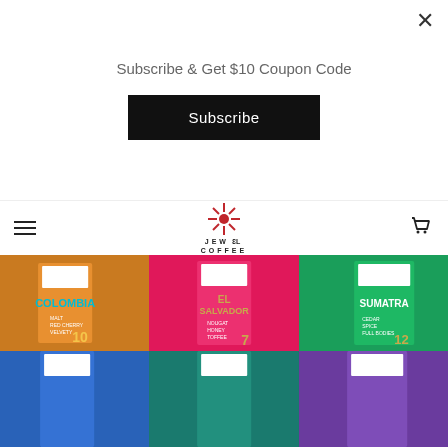Subscribe & Get $10 Coupon Code
Subscribe
[Figure (logo): Jewel Coffee logo with stylized palm tree and wordmark JEWEL COFFEE]
[Figure (photo): Three Jewel Coffee product boxes: Colombia (orange box, cyan text, number 10), El Salvador (pink box, gold text, number 7), Sumatra (green box, white text, number 12), and three partially visible boxes below in blue, teal, and purple]